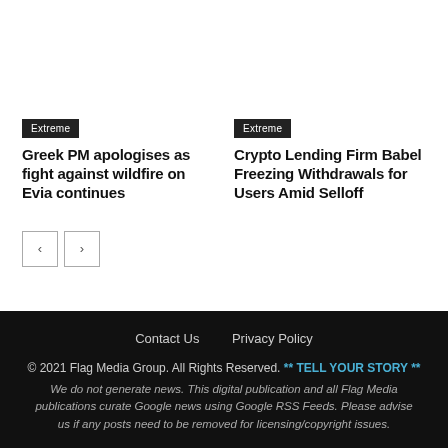Extreme
Greek PM apologises as fight against wildfire on Evia continues
Extreme
Crypto Lending Firm Babel Freezing Withdrawals for Users Amid Selloff
Contact Us   Privacy Policy
© 2021 Flag Media Group. All Rights Reserved. ** TELL YOUR STORY **
We do not generate news. This digital publication and all Flag Media publications curate Google news using Google RSS Feeds. Please advise us if any posts need to be removed for licensing/copyright issues.